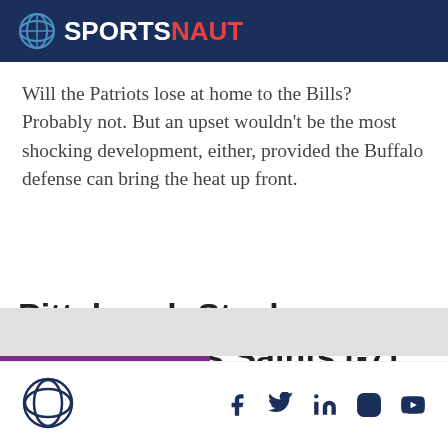SPORTSNAUT
Will the Patriots lose at home to the Bills? Probably not. But an upset wouldn't be the most shocking development, either, provided the Buffalo defense can bring the heat up front.
Pittsburgh Steelers vs. New Orleans Saints (-7)
Sportsnaut logo and social media icons: Facebook, Twitter, LinkedIn, Instagram, YouTube